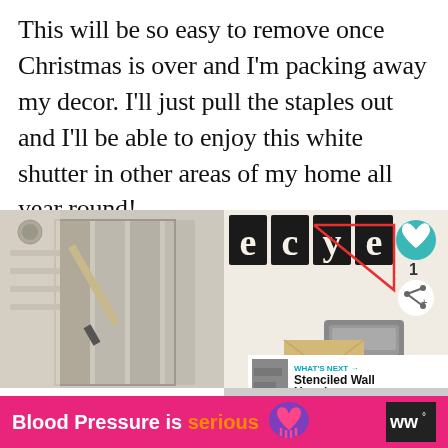This will be so easy to remove once Christmas is over and I'm packing away my decor. I'll just pull the staples out and I'll be able to enjoy this white shutter in other areas of my home all year round!
[Figure (photo): Photo of a paintbrush against a white weathered shutter]
Christmas advent calendar old shutter/craft supplies
[Figure (photo): Photo of craft supplies including letter tiles with red string and a staple gun on a craft paper envelope, with social media UI overlays (heart button, share button, count of 1, and a What's Next box for Stenciled Wall Hanging...)]
Blood Pressure is serious